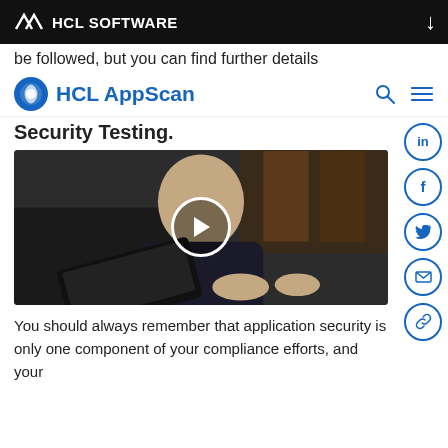HCL SOFTWARE
be followed, but you can find further details
HCL AppScan
Security Testing.
[Figure (photo): Video thumbnail showing a man in a dark sweater sitting at a laptop, with a play button overlay in the center.]
You should always remember that application security is only one component of your compliance efforts, and your